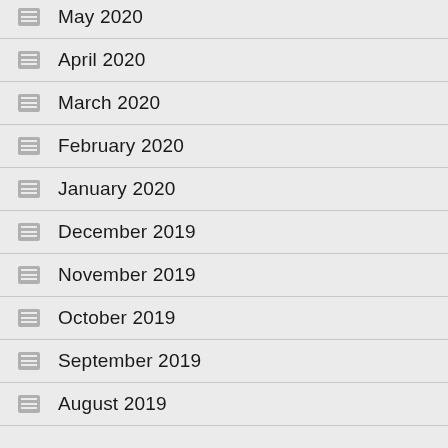May 2020
April 2020
March 2020
February 2020
January 2020
December 2019
November 2019
October 2019
September 2019
August 2019